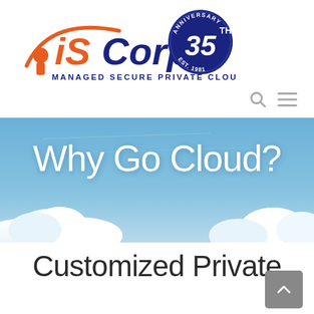[Figure (logo): iSCorp Managed Secure Private Cloud logo with 35th Anniversary badge. Orange swoosh with person silhouette, iSCorp in blue/orange lettering, TM mark, blue circle badge with '35 TH ANNIVERSARY EST. 1981'.]
[Figure (screenshot): Navigation icons: magnifying glass (search) and hamburger menu lines, gray colored, top right of header.]
[Figure (photo): Hero banner image showing blue sky with white clouds and white text 'Why Go Cloud?' in large light font.]
Why Go Cloud?
Customized Private